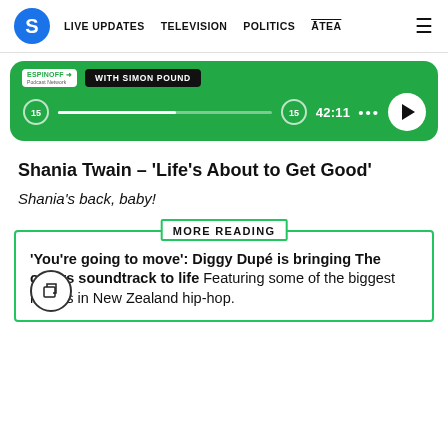S | LIVE UPDATES | TELEVISION | POLITICS | ĀTEA
[Figure (screenshot): Podcast player widget with green background showing The Spinoff podcast 'With Simon Pound', progress bar at 55%, time display 42:11, rewind/fast-forward 15s buttons, and play button]
Shania Twain – 'Life's About to Get Good'
Shania's back, baby!
MORE READING
'You're going to move': Diggy Dupé is bringing The [Topographers] soundtrack to life Featuring some of the biggest names in New Zealand hip-hop.